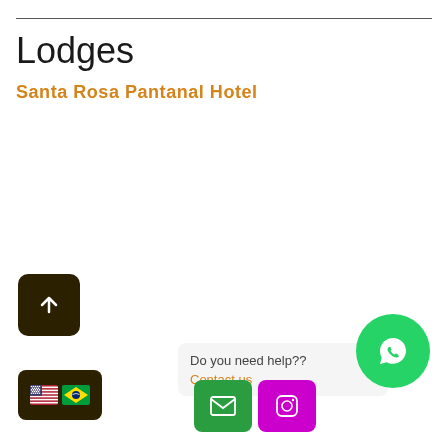Lodges
Santa Rosa Pantanal Hotel
[Figure (screenshot): Back-to-top button: dark brown rounded square with white upward arrow]
[Figure (screenshot): Language selector button with US flag and Brazilian flag on dark brown background]
Do you need help??
Contact us
[Figure (screenshot): Green email button with envelope icon]
[Figure (screenshot): Magenta/purple Instagram button with Instagram icon]
[Figure (screenshot): Green circular WhatsApp button with WhatsApp logo]